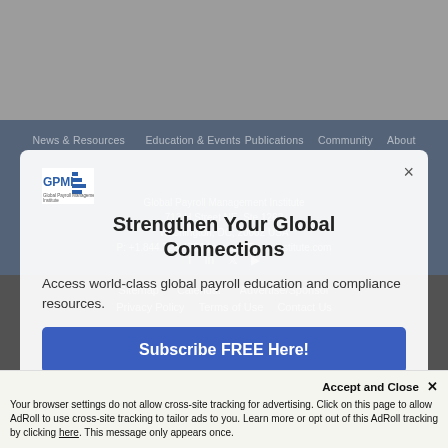[Figure (screenshot): GPMI website screenshot with modal popup overlay showing 'Strengthen Your Global Connections' subscription prompt and cookie consent bar at bottom]
Strengthen Your Global Connections
Access world-class global payroll education and compliance resources.
Subscribe FREE Here!
Sitemap   Calendar   Advertise/Sponsor
Privacy Policy   Terms of Use   Contact Us
Accept and Close ✕
Your browser settings do not allow cross-site tracking for advertising. Click on this page to allow AdRoll to use cross-site tracking to tailor ads to you. Learn more or opt out of this AdRoll tracking by clicking here. This message only appears once.